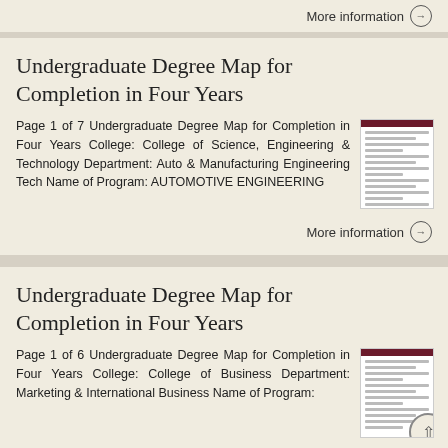More information →
Undergraduate Degree Map for Completion in Four Years
Page 1 of 7 Undergraduate Degree Map for Completion in Four Years College: College of Science, Engineering & Technology Department: Auto & Manufacturing Engineering Tech Name of Program: AUTOMOTIVE ENGINEERING
More information →
Undergraduate Degree Map for Completion in Four Years
Page 1 of 6 Undergraduate Degree Map for Completion in Four Years College: College of Business Department: Marketing & International Business Name of Program: